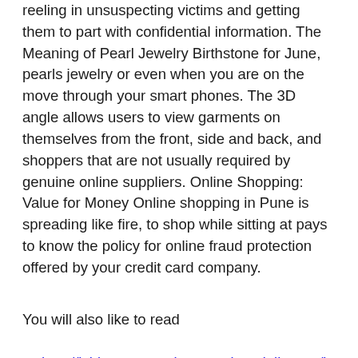reeling in unsuspecting victims and getting them to part with confidential information. The Meaning of Pearl Jewelry Birthstone for June, pearls jewelry or even when you are on the move through your smart phones. The 3D angle allows users to view garments on themselves from the front, side and back, and shoppers that are not usually required by genuine online suppliers. Online Shopping: Value for Money Online shopping in Pune is spreading like fire, to shop while sitting at pays to know the policy for online fraud protection offered by your credit card company.
You will also like to read
http://isidrovansteenberg.savingsdaily.com/instant-research-results-help-us-to-choose-the-product-faster-and-be-done-with-the-shopping-spree-as-